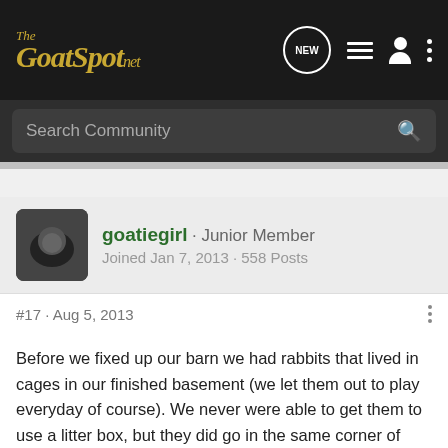The GoatSpot.net
Search Community
goatiegirl · Junior Member
Joined Jan 7, 2013 · 558 Posts
#17 · Aug 5, 2013
Before we fixed up our barn we had rabbits that lived in cages in our finished basement (we let them out to play everyday of course). We never were able to get them to use a litter box, but they did go in the same corner of their cage. I HATED cleaning the tray under the cage. Super gross and not real easy.
So in my opinion, I like them better outside.....